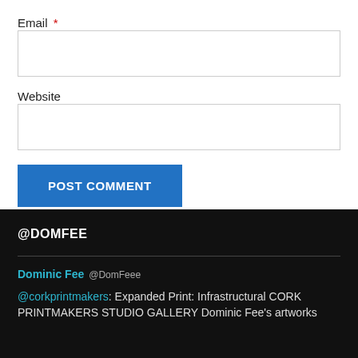Email *
Website
POST COMMENT
@DOMFEE
Dominic Fee @DomFeee
@corkprintmakers: Expanded Print: Infrastructural CORK PRINTMAKERS STUDIO GALLERY Dominic Fee's artworks